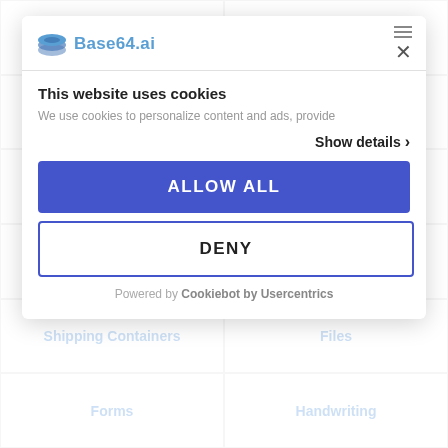[Figure (screenshot): Base64.ai website showing document categories in a grid: Passports, Travel Visas, Receipts, Invoices, Checks, ACORD Forms, Summary Of Benefits&..., License Plates, Shipping Containers, Files, Forms, Handwriting]
This website uses cookies
We use cookies to personalize content and ads, provide
Show details >
ALLOW ALL
DENY
Powered by Cookiebot by Usercentrics
[Figure (logo): Base64.ai logo with stacked coins icon and text 'Base64.ai']